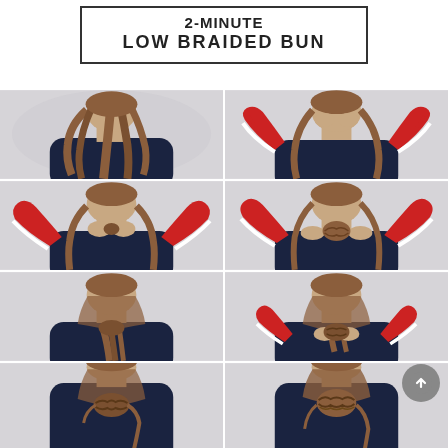2-MINUTE
LOW BRAIDED BUN
[Figure (photo): Step 1: Back view of a woman with long wavy brown hair, wearing a dark navy top, against a light gray background.]
[Figure (photo): Step 2: Back view of woman raising hands to gather hair at nape of neck, wearing red and white striped sleeves over dark top.]
[Figure (photo): Step 3: Back view of woman twisting gathered hair at nape, hands visible with striped sleeves.]
[Figure (photo): Step 4: Back view of woman forming a low bun with braided texture, hands pulling the sides.]
[Figure (photo): Step 5: Back view of woman with hair pulled into a low loose ponytail/bun shape, hands at sides.]
[Figure (photo): Step 6: Back view of woman securing the low braided bun, striped sleeves visible.]
[Figure (photo): Step 7 (partial): Bottom-left photo showing the finished low braided bun from behind, partially cropped.]
[Figure (photo): Step 8 (partial): Bottom-right photo showing back of head with completed low braided bun, partially cropped.]